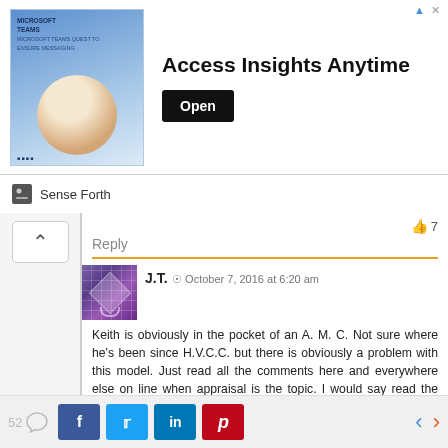[Figure (infographic): Advertisement banner: 'Access Insights Anytime' with Open button and Microsoft Teams branding image on left]
Sense Forth
👍 7
Reply
J.T.  ⊙  October 7, 2016 at 6:20 am
Keith is obviously in the pocket of an A. M. C. Not sure where he's been since H.V.C.C. but there is obviously a problem with this model. Just read all the comments here and everywhere else on line when appraisal is the topic. I would say read the comments on A.M.C. buzz , I mean Appraisal buzz but sadly, no one can post comments anymore. What a shame. We all know these companies have run us into the ground and the only fix is to do away with model altogether, replace it with portals, OR actually require them to comply with Dodd-Frank and stop the B.S. scope creep and pay reasonable fees. Forget customary because those fees are no longer reasonable. Just don't accept the order when the fee is too low ? BS ! Go ahead and accept the order. Request a fee increase once it's received. When the crooks cancel the order send
52